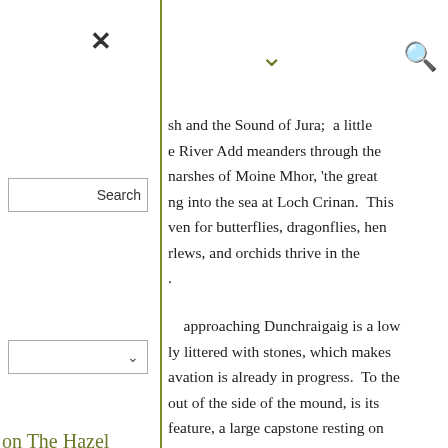× ∨ 🔍
sh and the Sound of Jura;  a little e River Add meanders through the narshes of Moine Mhor, 'the great ng into the sea at Loch Crinan.  This ven for butterflies, dragonflies, hen rlews, and orchids thrive in the .
approaching Dunchraigaig is a low ly littered with stones, which makes avation is already in progress.  To the out of the side of the mound, is its feature, a large capstone resting on lders and grassed over with turf. llow chamber which, at first glance, ight back into the heart of the cairn,
on The Hazel
aclaine's skull – a